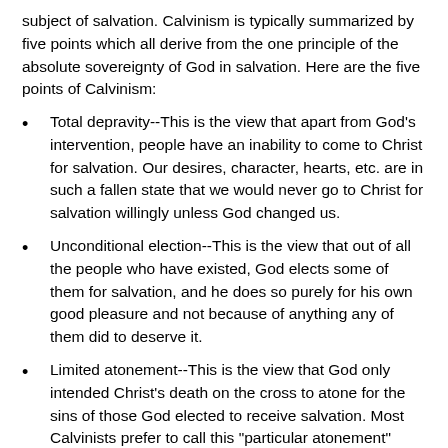subject of salvation. Calvinism is typically summarized by five points which all derive from the one principle of the absolute sovereignty of God in salvation. Here are the five points of Calvinism:
Total depravity--This is the view that apart from God's intervention, people have an inability to come to Christ for salvation. Our desires, character, hearts, etc. are in such a fallen state that we would never go to Christ for salvation willingly unless God changed us.
Unconditional election--This is the view that out of all the people who have existed, God elects some of them for salvation, and he does so purely for his own good pleasure and not because of anything any of them did to deserve it.
Limited atonement--This is the view that God only intended Christ's death on the cross to atone for the sins of those God elected to receive salvation. Most Calvinists prefer to call this "particular atonement" rather than "limited